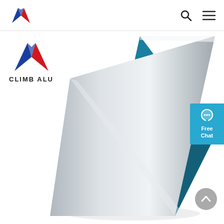CLIMB ALU — navigation bar with logo, search and menu icons
[Figure (logo): CLIMB ALU company logo: stylized A/M mark in blue and red, with text CLIMB ALU below]
[Figure (photo): Product photo of aluminum sheet/panel folded into an inverted-V tent shape, showing metallic silver front face and teal/blue-green underside, on a white background]
[Figure (other): Free Chat button widget on right side: cyan/blue background with speech bubble icon, text 'Free Chat']
[Figure (other): Scroll-to-top circular button in gray with an upward chevron arrow, bottom right]